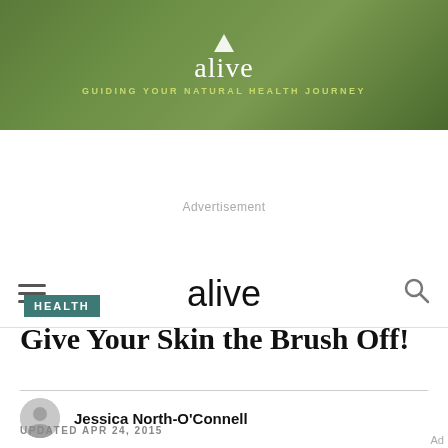[Figure (photo): Green leafy plant background with the 'alive' magazine logo and tagline 'GUIDING YOUR NATURAL HEALTH JOURNEY' overlaid on a dark green nature background.]
alive
Advertisement
HEALTH
Give Your Skin the Brush Off!
Jessica North-O'Connell
UPDATED APR 24, 2015